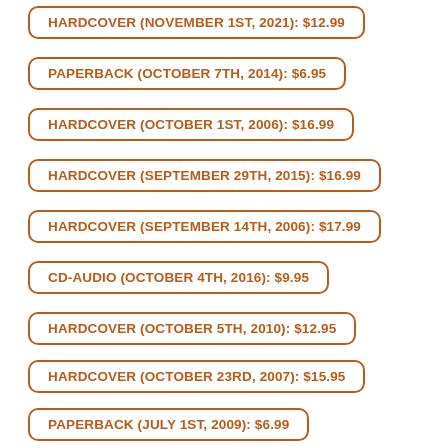HARDCOVER (NOVEMBER 1ST, 2021): $12.99
PAPERBACK (OCTOBER 7TH, 2014): $6.95
HARDCOVER (OCTOBER 1ST, 2006): $16.99
HARDCOVER (SEPTEMBER 29TH, 2015): $16.99
HARDCOVER (SEPTEMBER 14TH, 2006): $17.99
CD-AUDIO (OCTOBER 4TH, 2016): $9.95
HARDCOVER (OCTOBER 5TH, 2010): $12.95
HARDCOVER (OCTOBER 23RD, 2007): $15.95
PAPERBACK (JULY 1ST, 2009): $6.99